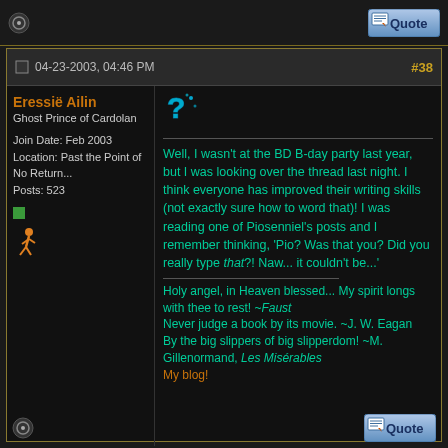04-23-2003, 04:46 PM  #38
Eressië Ailin
Ghost Prince of Cardolan
Join Date: Feb 2003
Location: Past the Point of No Return...
Posts: 523
Well, I wasn't at the BD B-day party last year, but I was looking over the thread last night. I think everyone has improved their writing skills (not exactly sure how to word that)! I was reading one of Piosenniel's posts and I remember thinking, 'Pio? Was that you? Did you really type that?! Naw... it couldn't be...'
Holy angel, in Heaven blessed... My spirit longs with thee to rest! ~Faust
Never judge a book by its movie. ~J. W. Eagan
By the big slippers of big slipperdom! ~M. Gillenormand, Les Misérables
My blog!